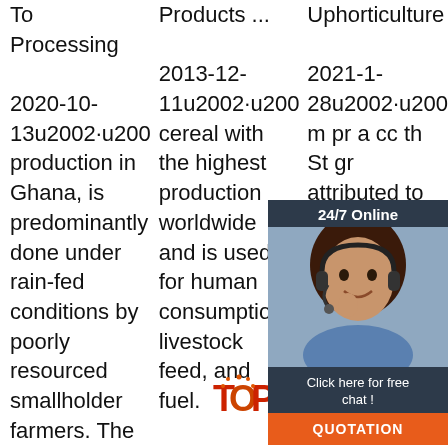To Processing 2020-10-13u2002·u2002Maize production in Ghana, is predominantly done under rain-fed conditions by poorly resourced smallholder farmers. The agro-ecological zones for
Products ... 2013-12-11u2002·u2002·u2002·u2002the cereal with the highest production worldwide and is used for human consumption, livestock feed, and fuel. Various food technologies are currently
Uphorticulture 2021-1-28u2002·u2002Tu2002de m pr a cc th St gr attributed to the easy availability of corn and ... SALES Gross
[Figure (infographic): Chat widget overlay showing a customer service representative with headset, '24/7 Online' header, 'Click here for free chat!' text, and an orange QUOTATION button. Also a TOP logo in orange/red dots at bottom right.]